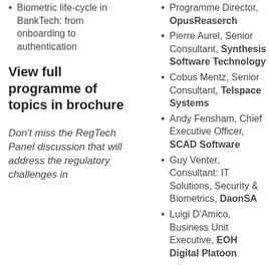Biometric life-cycle in BankTech: from onboarding to authentication
View full programme of topics in brochure
Don't miss the RegTech Panel discussion that will address the regulatory challenges in
Programme Director, OpusReaserch
Pierre Aurel, Senior Consultant, Synthesis Software Technology
Cobus Mentz, Senior Consultant, Telspace Systems
Andy Fensham, Chief Executive Officer, SCAD Software
Guy Venter, Consultant: IT Solutions, Security & Biometrics, DaonSA
Luigi D'Amico, Business Unit Executive, EOH Digital Platoon
Click here to see the full programme